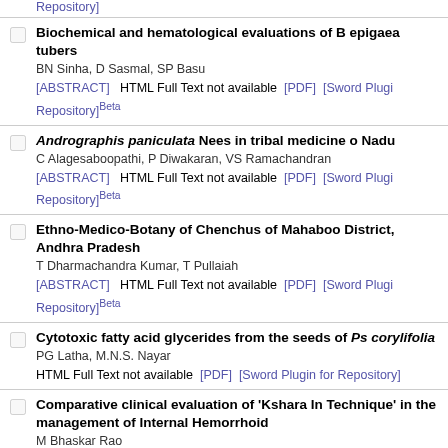Repository]
Biochemical and hematological evaluations of B epigaea tubers
BN Sinha, D Sasmal, SP Basu
[ABSTRACT]   HTML Full Text not available  [PDF]  [Sword Plugin for Repository]Beta
Andrographis paniculata Nees in tribal medicine o Nadu
C Alagesaboopathi, P Diwakaran, VS Ramachandran
[ABSTRACT]   HTML Full Text not available  [PDF]  [Sword Plugin for Repository]Beta
Ethno-Medico-Botany of Chenchus of Mahaboo District, Andhra Pradesh
T Dharmachandra Kumar, T Pullaiah
[ABSTRACT]   HTML Full Text not available  [PDF]  [Sword Plugin for Repository]Beta
Cytotoxic fatty acid glycerides from the seeds of Ps corylifolia
PG Latha, M.N.S. Nayar
HTML Full Text not available  [PDF]  [Sword Plugin for Repository]
Comparative clinical evaluation of 'Kshara In Technique' in the management of Internal Hemorrhoid
M Bhaskar Rao